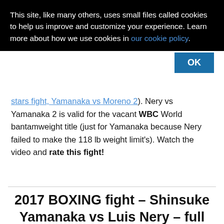This site, like many others, uses small files called cookies to help us improve and customize your experience. Learn more about how we use cookies in our cookie policy.
stars fight, Yamanaka vs Moreno 2). Nery vs Yamanaka 2 is valid for the vacant WBC World bantamweight title (just for Yamanaka because Nery failed to make the 118 lb weight limit's). Watch the video and rate this fight!
2017 BOXING fight – Shinsuke Yamanaka vs Luis Nery – full fight Video WBC
2017/08/15 by ATBF Editorial Board